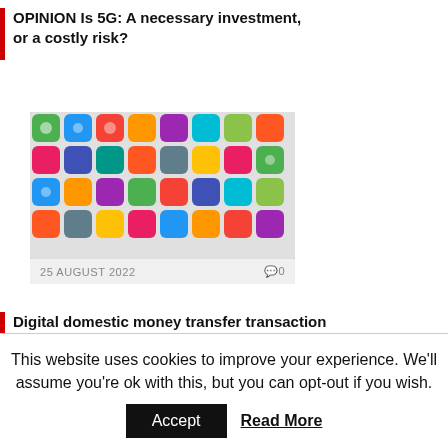OPINION Is 5G: A necessary investment, or a costly risk?
[Figure (photo): Colorful 3D social media and app icons/cubes piled together]
25 AUGUST 2022   0
Digital domestic money transfer transaction volume to surpass 300 billion globally by 2026, driven by instant payment and superapps growth
This website uses cookies to improve your experience. We'll assume you're ok with this, but you can opt-out if you wish.